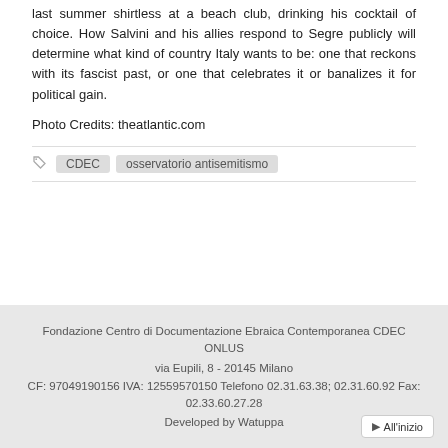last summer shirtless at a beach club, drinking his cocktail of choice. How Salvini and his allies respond to Segre publicly will determine what kind of country Italy wants to be: one that reckons with its fascist past, or one that celebrates it or banalizes it for political gain.
Photo Credits: theatlantic.com
CDEC   osservatorio antisemitismo
Fondazione Centro di Documentazione Ebraica Contemporanea CDEC ONLUS
via Eupili, 8 - 20145 Milano
CF: 97049190156 IVA: 12559570150 Telefono 02.31.63.38; 02.31.60.92 Fax: 02.33.60.27.28
Developed by Watuppa